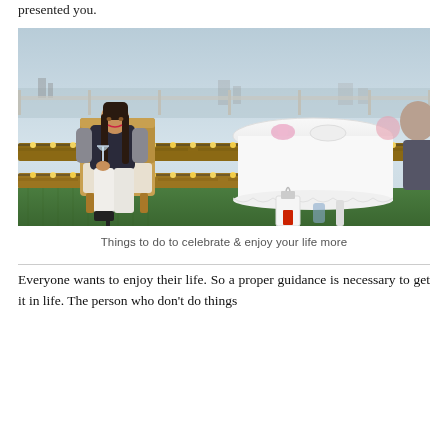presented you.
[Figure (photo): A woman with long brown hair, wearing a dark top and white wide-leg trousers, sitting on a wicker chair on a rooftop terrace. She is holding a glass. Behind her are string lights along wooden pallets, a white tablecloth-covered table, and a panoramic city view in the background.]
Things to do to celebrate & enjoy your life more
Everyone wants to enjoy their life. So a proper guidance is necessary to get it in life. The person who don't do things